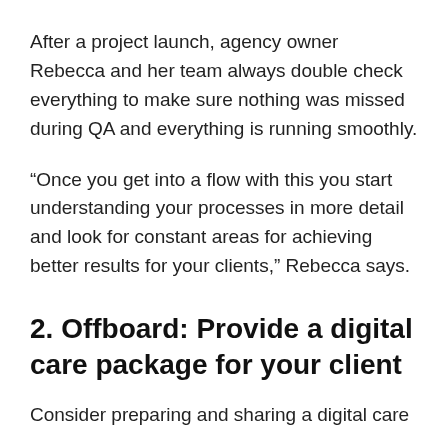After a project launch, agency owner Rebecca and her team always double check everything to make sure nothing was missed during QA and everything is running smoothly.
“Once you get into a flow with this you start understanding your processes in more detail and look for constant areas for achieving better results for your clients,” Rebecca says.
2. Offboard: Provide a digital care package for your client
Consider preparing and sharing a digital care